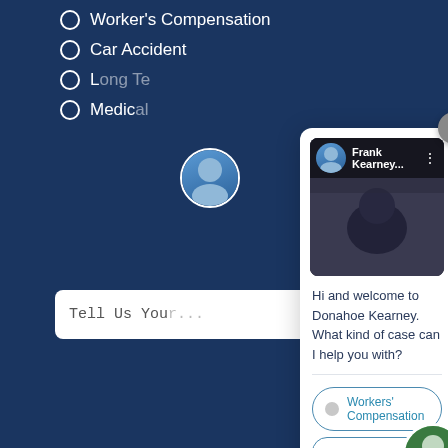Worker's Compensation
Car Accident
L... Te...
Medic...
Tell Us You...
[Figure (screenshot): YouTube video embed showing Frank Kearney with a red play button in the center, with a dark video background showing a person in a suit]
Hi and welcome to Donahoe Kearney. What kind of case can I help you with?
Workers' Compensation